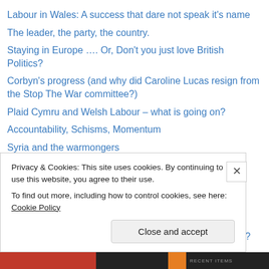Labour in Wales: A success that dare not speak it’s name
The leader, the party, the country.
Staying in Europe …. Or, Don’t you just love British Politics?
Corbyn’s progress (and why did Caroline Lucas resign from the Stop The War committee?)
Plaid Cymru and Welsh Labour – what is going on?
Accountability, Schisms, Momentum
Syria and the warmongers
Conferences, tribalism and priorities
Cardiff Meeting
Labour angst or unity against austerity?
Britain is broken. Pick Up the Pieces.
Scotland’s No Vote: the end, or the end of the beginning?
Privacy & Cookies: This site uses cookies. By continuing to use this website, you agree to their use.
To find out more, including how to control cookies, see here: Cookie Policy
Close and accept